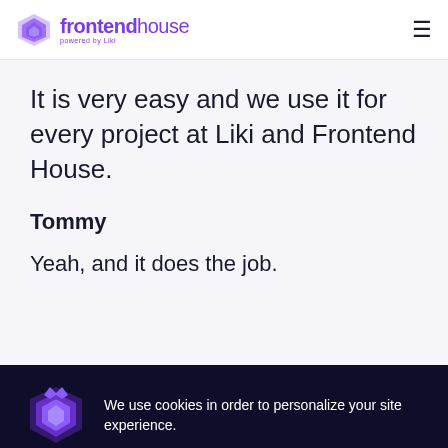frontendhouse powered by Liki
It is very easy and we use it for every project at Liki and Frontend House.
Tommy
Yeah, and it does the job.
We use cookies in order to personalize your site experience.